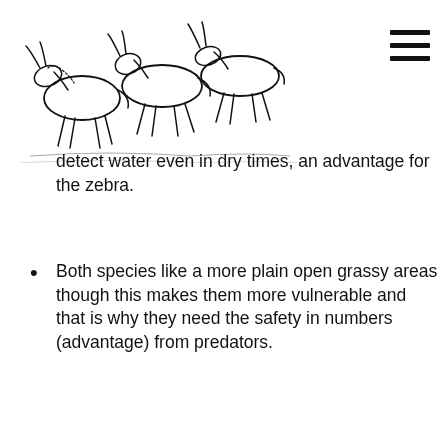[Figure (illustration): Black and white line drawing of a herd of running wildebeest (gnu), used as a logo/header image]
[Figure (illustration): Hamburger menu icon — three horizontal black bars]
detect water even in dry times, an advantage for the zebra.
Both species like a more plain open grassy areas though this makes them more vulnerable and that is why they need the safety in numbers (advantage) from predators.
[Figure (photo): Photo of two zebras facing each other, nuzzling or touching heads, standing in golden-yellow dry grass savanna. A circular white button/icon is in the lower right corner of the photo.]